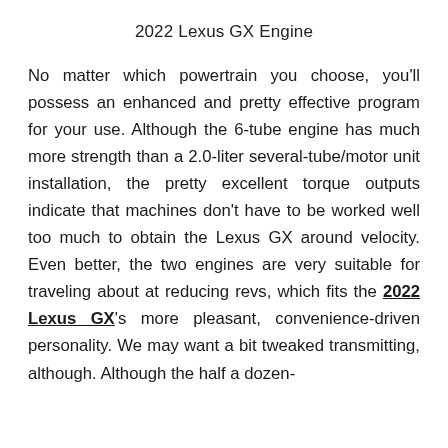2022 Lexus GX Engine
No matter which powertrain you choose, you'll possess an enhanced and pretty effective program for your use. Although the 6-tube engine has much more strength than a 2.0-liter several-tube/motor unit installation, the pretty excellent torque outputs indicate that machines don't have to be worked well too much to obtain the Lexus GX around velocity. Even better, the two engines are very suitable for traveling about at reducing revs, which fits the 2022 Lexus GX's more pleasant, convenience-driven personality. We may want a bit tweaked transmitting, although. Although the half a dozen-